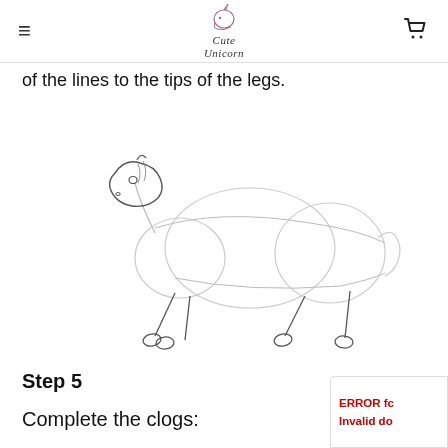Cute Unicorn
of the lines to the tips of the legs.
[Figure (illustration): Sketch of a unicorn in a galloping pose. The body is drawn with light circular guide shapes. The head has a small eye and nostril indicated. Four legs are shown with small ovals at the tips representing hooves (clogs). Lines extend from body to tips of legs.]
Step 5
Complete the clogs: